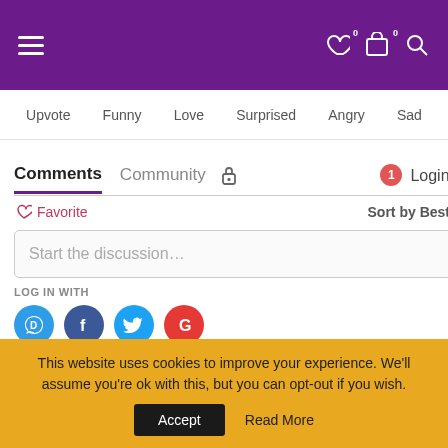[Figure (screenshot): Purple website header bar with hamburger menu icon on left and heart, cart, and search icons on right with badge counts of 0]
Upvote  Funny  Love  Surprised  Angry  Sad
Comments  Community  [lock icon]  [notification badge: 1]  Login
♡ Favorite
Sort by Best
Start the discussion…
LOG IN WITH
[Figure (logo): Social login icons: Disqus (blue speech bubble D), Facebook (dark blue F), Twitter (blue bird), Google (red G)]
OR SIGN UP WITH DISQUS (?)
This website uses cookies to improve your experience. We'll assume you're ok with this, but you can opt-out if you wish.
Accept  Read More